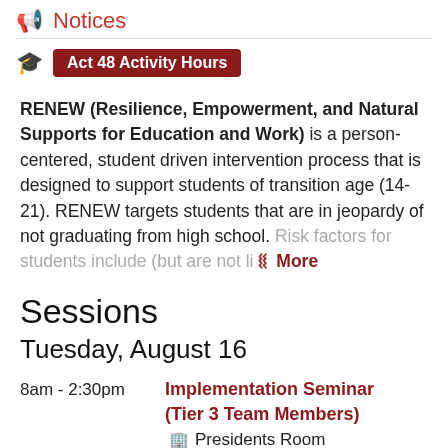Notices
Act 48 Activity Hours
RENEW (Resilience, Empowerment, and Natural Supports for Education and Work) is a person-centered, student driven intervention process that is designed to support students of transition age (14-21). RENEW targets students that are in jeopardy of not graduating from high school. Risk factors for students include (but are not li… More
Sessions
Tuesday, August 16
8am - 2:30pm — Implementation Seminar (Tier 3 Team Members) — Presidents Room
Wednesday, August 17